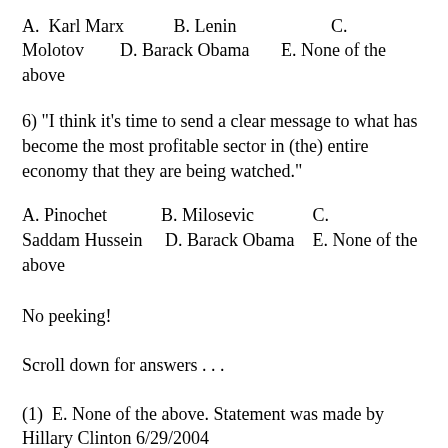A.  Karl Marx          B. Lenin                    C. Molotov        D. Barack Obama      E. None of the above
6) "I think it's time to send a clear message to what has become the most profitable sector in (the) entire economy that they are being watched."
A. Pinochet             B. Milosevic              C. Saddam Hussein    D. Barack Obama    E. None of the above
No peeking!
Scroll down for answers . . .
(1)  E. None of the above. Statement was made by Hillary Clinton 6/29/2004